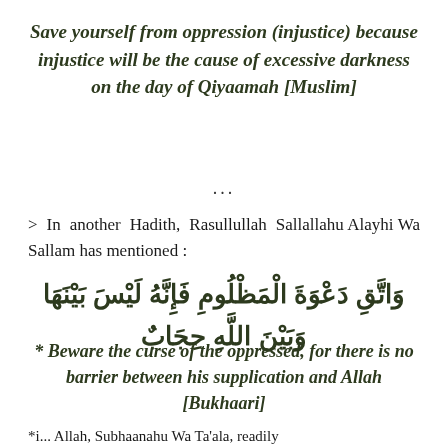Save yourself from oppression (injustice) because injustice will be the cause of excessive darkness on the day of Qiyaamah [Muslim]
...
> In another Hadith, Rasullullah Sallallahu Alayhi Wa Sallam has mentioned :
وَاتَّقِ دَعْوَةَ الْمَظْلُومِ فَإِنَّهُ لَيْسَ بَيْنَهَا وَبَيْنَ اللَّهِ حِجَابٌ
* Beware the curse of the oppressed, for there is no barrier between his supplication and Allah [Bukhaari]
*i... Allah, Subhaanahu Wa Ta'ala, readily